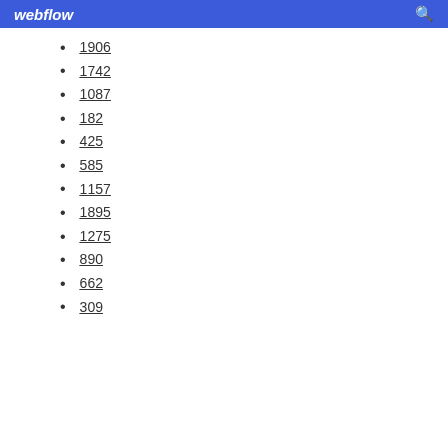webflow
1906
1742
1087
182
425
585
1157
1895
1275
890
662
309